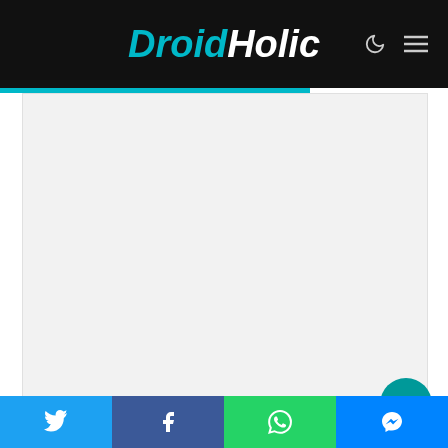DroidHolic
[Figure (other): Blank white image placeholder area for an article image]
On the front, there is a 25 Megapixel camera. So, the